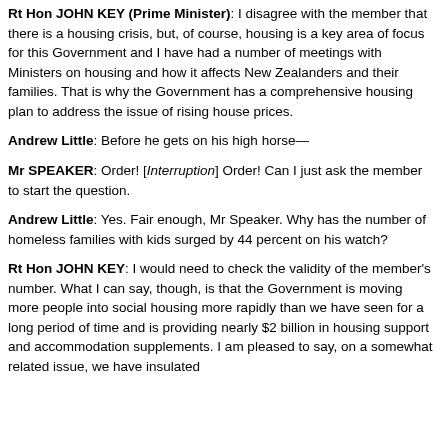Rt Hon JOHN KEY (Prime Minister): I disagree with the member that there is a housing crisis, but, of course, housing is a key area of focus for this Government and I have had a number of meetings with Ministers on housing and how it affects New Zealanders and their families. That is why the Government has a comprehensive housing plan to address the issue of rising house prices.
Andrew Little: Before he gets on his high horse—
Mr SPEAKER: Order! [Interruption] Order! Can I just ask the member to start the question.
Andrew Little: Yes. Fair enough, Mr Speaker. Why has the number of homeless families with kids surged by 44 percent on his watch?
Rt Hon JOHN KEY: I would need to check the validity of the member's number. What I can say, though, is that the Government is moving more people into social housing more rapidly than we have seen for a long period of time and is providing nearly $2 billion in housing support and accommodation supplements. I am pleased to say, on a somewhat related issue, we have insulated